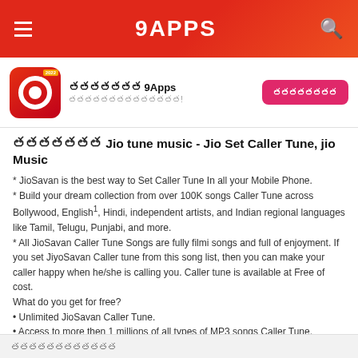9APPS
[Figure (logo): 9Apps app icon with red gradient background and stylized 9 logo with 2022 badge]
ஓகஓகஓக 9Apps — ஓகஓகஓகஓகஓகஓகஓக!
ஓகஓகஓக Jio tune music - Jio Set Caller Tune, jio Music
* JioSavan is the best way to Set Caller Tune In all your Mobile Phone.
* Build your dream collection from over 100K songs Caller Tune across Bollywood, English¹, Hindi, independent artists, and Indian regional languages like Tamil, Telugu, Punjabi, and more.
* All JioSavan Caller Tune Songs are fully filmi songs and full of enjoyment. If you set JiyoSavan Caller tune from this song list, then you can make your caller happy when he/she is calling you. Caller tune is available at Free of cost.
What do you get for free?
• Unlimited JioSavan Caller Tune.
• Access to more then 1 millions of all types of MP3 songs Caller Tune.
• High quality music streaming tips in JioSavan.
• Also you can find easy you created ringtone collection in library.
- Set JiyoSavan Tune - Set Caller Tune, JiyoSavan Caller Tune is a Value Added service using which you can set your favourite songs as your caller
ஓகஓகஓகஓக